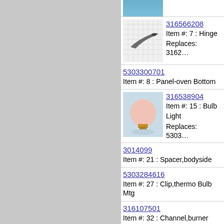[Figure (photo): Blue item photo (partial, top of page)]
316566208
Item #: 7 : Hinge
Replaces: 3162...
5303300701
Item #: 8 : Panel-oven Bottom
316538904
Item #: 15 : Bulb Light
Replaces: 5303...
3014099
Item #: 21 : Spacer,bodyside
5303284616
Item #: 27 : Clip,thermo Bulb Mtg
316107501
Item #: 32 : Channel,burner Support
316055601
Item #: 33 : Shield-spark Module
3018607
Item #: 34 : Plate,cover
316542102